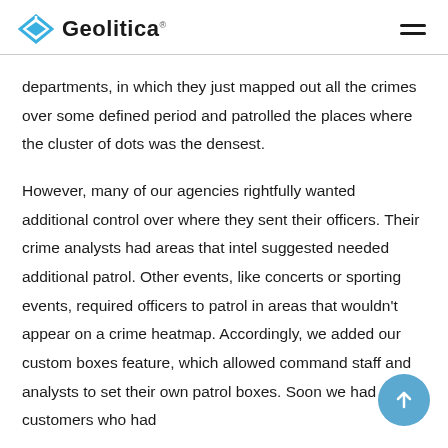Geolitica
departments, in which they just mapped out all the crimes over some defined period and patrolled the places where the cluster of dots was the densest.
However, many of our agencies rightfully wanted additional control over where they sent their officers. Their crime analysts had areas that intel suggested needed additional patrol. Other events, like concerts or sporting events, required officers to patrol in areas that wouldn't appear on a crime heatmap. Accordingly, we added our custom boxes feature, which allowed command staff and analysts to set their own patrol boxes. Soon we had customers who had